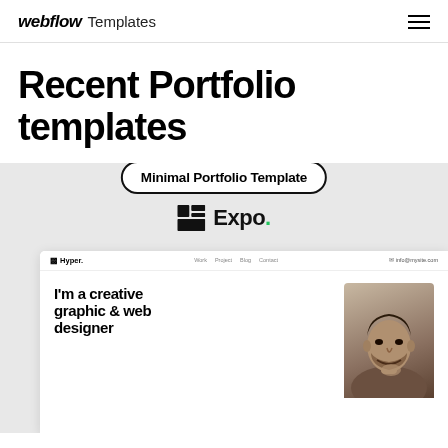webflow Templates
Recent Portfolio templates
[Figure (screenshot): Webflow template showcase showing a 'Minimal Portfolio Template' pill badge, the Expo. brand logo, and a browser mockup of the Hyper portfolio template with the headline "I'm a creative graphic & web designer" and a photo of a man.]